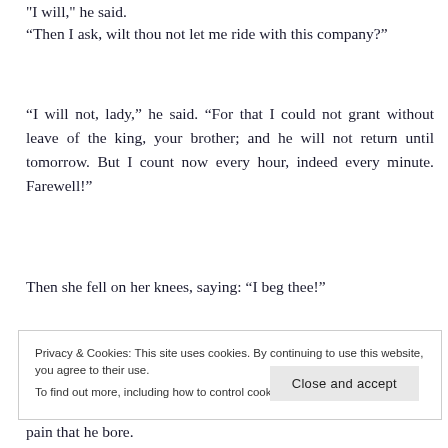“I will,” he said.
“Then I ask, wilt thou not let me ride with this company?”
“I will not, lady,” he said. “For that I could not grant without leave of the king, your brother; and he will not return until tomorrow. But I count now every hour, indeed every minute. Farewell!”
Then she fell on her knees, saying: “I beg thee!”
“You shall not,” he said, and his face showed the pain that he bore.
Privacy & Cookies: This site uses cookies. By continuing to use this website, you agree to their use.
To find out more, including how to control cookies, see here: Cookie Policy
Close and accept
pain that he bore.